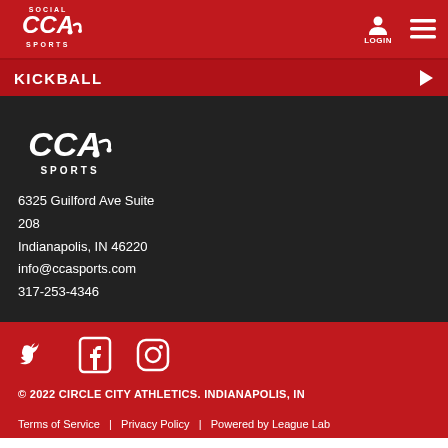[Figure (logo): CCA Sports logo - white text on red background, top navigation bar]
KICKBALL
[Figure (logo): CCA Sports logo - white on dark background]
6325 Guilford Ave Suite 208
Indianapolis, IN 46220
info@ccasports.com
317-253-4346
[Figure (infographic): Social media icons: Twitter, Facebook, Instagram]
© 2022 CIRCLE CITY ATHLETICS. INDIANAPOLIS, IN
Terms of Service   |   Privacy Policy   |   Powered by League Lab